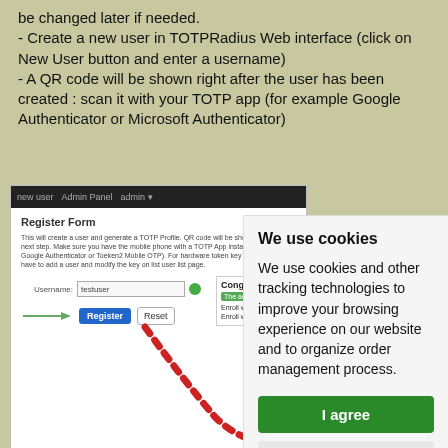be changed later if needed.
- Create a new user in TOTPRadius Web interface (click on New User button and enter a username)
- A QR code will be shown right after the user has been created : scan it with your TOTP app (for example Google Authenticator or Microsoft Authenticator)
[Figure (screenshot): Screenshot of TOTPRadius web interface showing a Register Form with username field and Register/Reset buttons, partially overlaid by a cookie consent popup.]
We use cookies
We use cookies and other tracking technologies to improve your browsing experience on our website and to organize order management process.
I agree
Change preferences